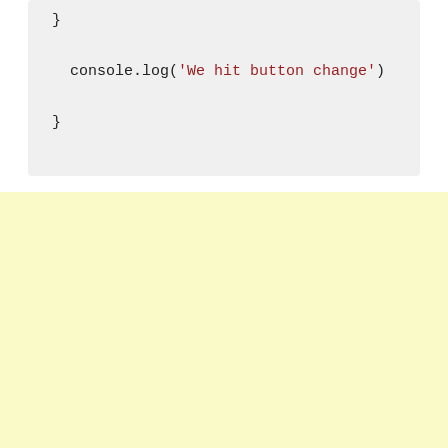[Figure (screenshot): Code snippet showing JavaScript: closing brace, console.log with string 'We hit button change', closing brace. Grey background code block.]
(empty yellow area)